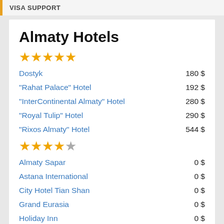VISA SUPPORT
Almaty Hotels
| Hotel | Price |
| --- | --- |
| Dostyk | 180 $ |
| "Rahat Palace" Hotel | 192 $ |
| "InterContinental Almaty" Hotel | 280 $ |
| "Royal Tulip" Hotel | 290 $ |
| "Rixos Almaty" Hotel | 544 $ |
| Almaty Sapar | 0 $ |
| Astana International | 0 $ |
| City Hotel Tian Shan | 0 $ |
| Grand Eurasia | 0 $ |
| Holiday Inn | 0 $ |
| Holiday Inn Almaty Hotel | 0 $ |
| Grand Aiser | 65 $ |